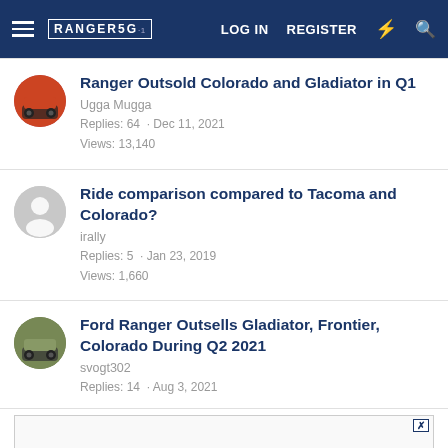RANGER5G LOG IN REGISTER
Ranger Outsold Colorado and Gladiator in Q1
Ugga Mugga
Replies: 64 · Dec 11, 2021
Views: 13,140
Ride comparison compared to Tacoma and Colorado?
irally
Replies: 5 · Jan 23, 2019
Views: 1,660
Ford Ranger Outsells Gladiator, Frontier, Colorado During Q2 2021
svogt302
Replies: 14 · Aug 3, 2021
[Figure (other): Advertisement box with X close button]